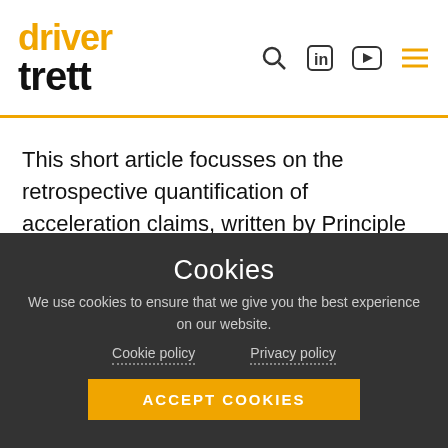driver trett
This short article focusses on the retrospective quantification of acceleration claims, written by Principle Quantum Expert, John Mullen.
[Figure (photo): Diales company logo with twin towers in background, and partial photo of a person (John Mullen) to the right]
Cookies
We use cookies to ensure that we give you the best experience on our website.
Cookie policy    Privacy policy
ACCEPT COOKIES